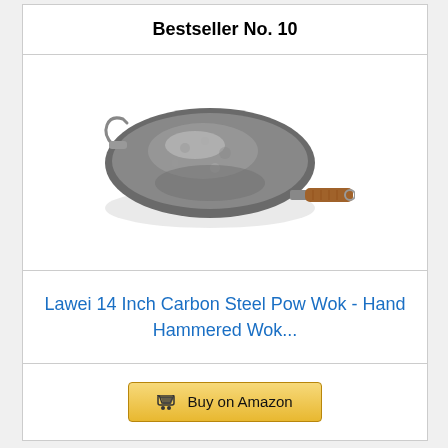Bestseller No. 10
[Figure (photo): Carbon steel pow wok with wooden handle and small metal helper handle, viewed from above at an angle showing the hammered interior surface.]
Lawei 14 Inch Carbon Steel Pow Wok - Hand Hammered Wok...
Buy on Amazon